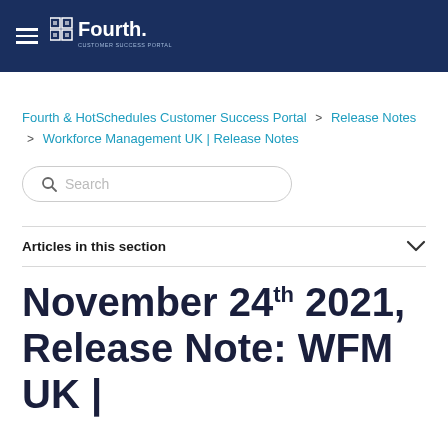Fourth. Customer Success Portal
Fourth & HotSchedules Customer Success Portal > Release Notes > Workforce Management UK | Release Notes
Search
Articles in this section
November 24th 2021, Release Note: WFM UK |